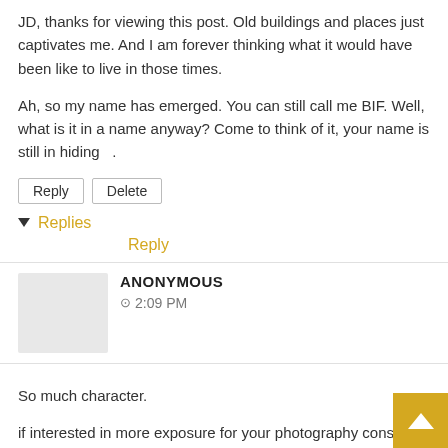JD, thanks for viewing this post. Old buildings and places just captivates me. And I am forever thinking what it would have been like to live in those times.
Ah, so my name has emerged. You can still call me BIF. Well, what is it in a name anyway? Come to think of it, your name is still in hiding  .
Reply   Delete
▼ Replies
Reply
ANONYMOUS
⊙ 2:09 PM
So much character.
if interested in more exposure for your photography consider joining cre8Buzz. A photo community in which you can be seen, be heard, be found. You can promote your own blogs and any other sites you are involved in. For instance, I promote flickr, redbubble and photobox - plus my own personal blog.
A new site just a few months old - looking to have more talented photographers join the supportive, encouraging